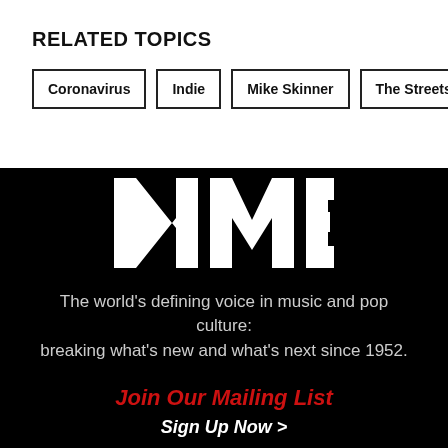RELATED TOPICS
Coronavirus
Indie
Mike Skinner
The Streets
[Figure (logo): NME logo in white bold block letters on black background]
The world's defining voice in music and pop culture: breaking what's new and what's next since 1952.
Join Our Mailing List
Sign Up Now >